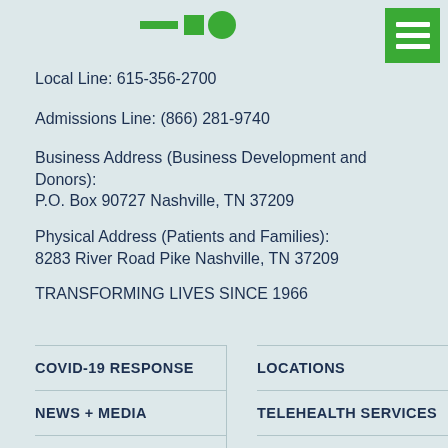[Figure (logo): Partial logo with green dash, green square, and green circle shapes visible at top center]
[Figure (other): Green hamburger menu button with three white horizontal lines in top right corner]
Local Line: 615-356-2700
Admissions Line: (866) 281-9740
Business Address (Business Development and Donors):
P.O. Box 90727 Nashville, TN 37209
Physical Address (Patients and Families):
8283 River Road Pike Nashville, TN 37209
TRANSFORMING LIVES SINCE 1966
COVID-19 RESPONSE
LOCATIONS
NEWS + MEDIA
TELEHEALTH SERVICES
BLOG
INPATIENT CARE